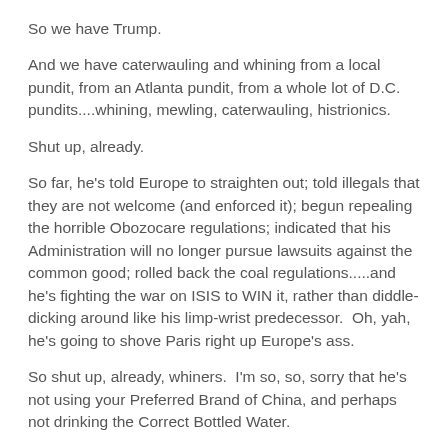So we have Trump.
And we have caterwauling and whining from a local pundit, from an Atlanta pundit, from a whole lot of D.C. pundits....whining, mewling, caterwauling, histrionics.
Shut up, already.
So far, he's told Europe to straighten out; told illegals that they are not welcome (and enforced it); begun repealing the horrible Obozocare regulations; indicated that his Administration will no longer pursue lawsuits against the common good; rolled back the coal regulations.....and he's fighting the war on ISIS to WIN it, rather than diddle-dicking around like his limp-wrist predecessor.  Oh, yah, he's going to shove Paris right up Europe's ass.
So shut up, already, whiners.  I'm so, so, sorry that he's not using your Preferred Brand of China, and perhaps not drinking the Correct Bottled Water.